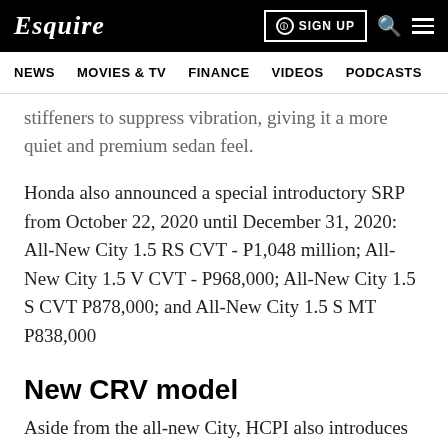Esquire  SIGN UP
NEWS  MOVIES & TV  FINANCE  VIDEOS  PODCASTS
stiffeners to suppress vibration, giving it a more quiet and premium sedan feel.
Honda also announced a special introductory SRP from October 22, 2020 until December 31, 2020: All-New City 1.5 RS CVT - P1,048 million; All-New City 1.5 V CVT - P968,000; All-New City 1.5 S CVT P878,000; and All-New City 1.5 S MT P838,000
New CRV model
Aside from the all-new City, HCPI also introduces its new CR-V model with a redesigned exterior